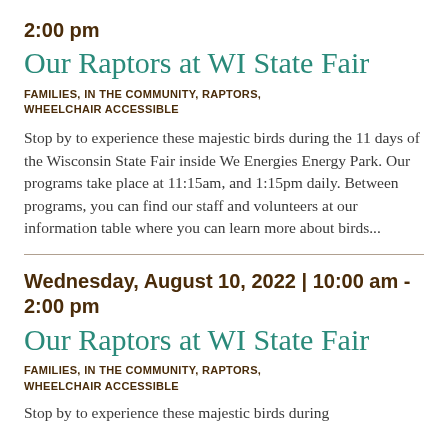2:00 pm
Our Raptors at WI State Fair
FAMILIES, IN THE COMMUNITY, RAPTORS, WHEELCHAIR ACCESSIBLE
Stop by to experience these majestic birds during the 11 days of the Wisconsin State Fair inside We Energies Energy Park. Our programs take place at 11:15am, and 1:15pm daily. Between programs, you can find our staff and volunteers at our information table where you can learn more about birds...
Wednesday, August 10, 2022 | 10:00 am - 2:00 pm
Our Raptors at WI State Fair
FAMILIES, IN THE COMMUNITY, RAPTORS, WHEELCHAIR ACCESSIBLE
Stop by to experience these majestic birds during